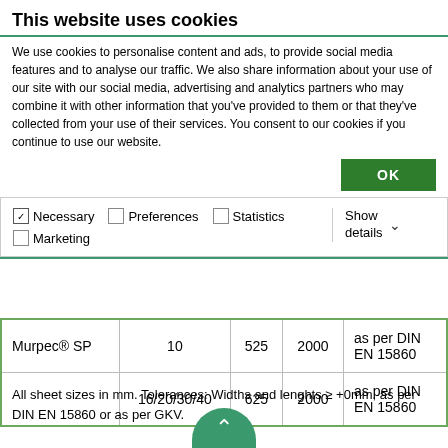This website uses cookies
We use cookies to personalise content and ads, to provide social media features and to analyse our traffic. We also share information about your use of our site with our social media, advertising and analytics partners who may combine it with other information that you've provided to them or that they've collected from your use of their services. You consent to our cookies if you continue to use our website.
|  |  |  |  |  |
| --- | --- | --- | --- | --- |
| Murpec® SP | 10 | 525 | 2000 | as per DIN EN 15860 |
|  | 16/20/30/40 | 625 | 2000 | as per DIN EN 15860 |
All sheet sizes in mm. Tolerances: Widths and lenghts ≥ +0mm, as per DIN EN 15860 or as per GKV.